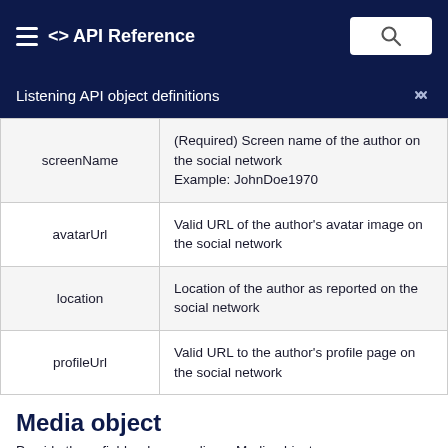<> API Reference
Listening API object definitions
| Field | Description |
| --- | --- |
| screenName | (Required) Screen name of the author on the social network Example: JohnDoe1970 |
| avatarUrl | Valid URL of the author's avatar image on the social network |
| location | Location of the author as reported on the social network |
| profileUrl | Valid URL to the author's profile page on the social network |
Media object
Provide these fields when sending a Media object.